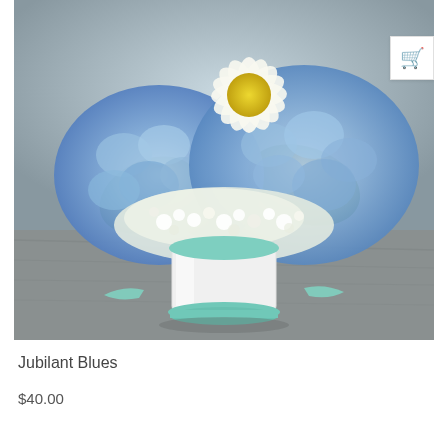[Figure (photo): A floral arrangement of blue hydrangeas and white chrysanthemum/daisy flowers with small white filler blooms and green leaves, arranged in a white cylindrical vase with a mint/teal ribbon, placed on a gray wooden surface.]
Jubilant Blues
$40.00